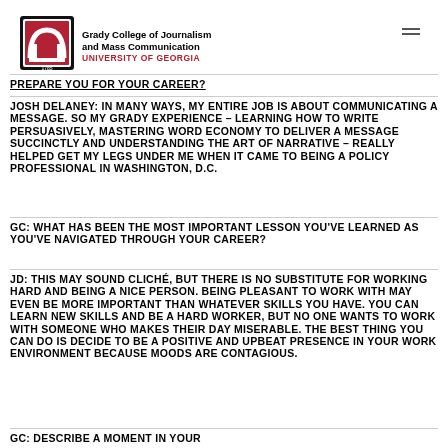[Figure (logo): Grady College of Journalism and Mass Communication, University of Georgia logo with arch icon]
Grady College of Journalism and Mass Communication
UNIVERSITY OF GEORGIA
PREPARE YOU FOR YOUR CAREER?
JOSH DELANEY: IN MANY WAYS, MY ENTIRE JOB IS ABOUT COMMUNICATING A MESSAGE. SO MY GRADY EXPERIENCE – LEARNING HOW TO WRITE PERSUASIVELY, MASTERING WORD ECONOMY TO DELIVER A MESSAGE SUCCINCTLY AND UNDERSTANDING THE ART OF NARRATIVE – REALLY HELPED GET MY LEGS UNDER ME WHEN IT CAME TO BEING A POLICY PROFESSIONAL IN WASHINGTON, D.C.
GC: WHAT HAS BEEN THE MOST IMPORTANT LESSON YOU'VE LEARNED AS YOU'VE NAVIGATED THROUGH YOUR CAREER?
JD: THIS MAY SOUND CLICHÉ, BUT THERE IS NO SUBSTITUTE FOR WORKING HARD AND BEING A NICE PERSON. BEING PLEASANT TO WORK WITH MAY EVEN BE MORE IMPORTANT THAN WHATEVER SKILLS YOU HAVE. YOU CAN LEARN NEW SKILLS AND BE A HARD WORKER, BUT NO ONE WANTS TO WORK WITH SOMEONE WHO MAKES THEIR DAY MISERABLE. THE BEST THING YOU CAN DO IS DECIDE TO BE A POSITIVE AND UPBEAT PRESENCE IN YOUR WORK ENVIRONMENT BECAUSE MOODS ARE CONTAGIOUS.
GC: DESCRIBE A MOMENT IN YOUR